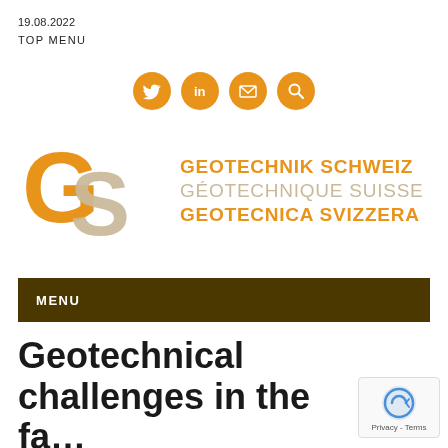19.08.2022
TOP MENU
[Figure (infographic): Four orange circular social media / action icons: Twitter bird, LinkedIn 'in', envelope (email), magnifying glass (search)]
[Figure (logo): GS logo with orange G and beige S letterforms, alongside text: GEOTECHNIK SCHWEIZ / GÉOTECHNIQUE SUISSE / GEOTECNICA SVIZZERA in orange and beige]
MENU
Geotechnical challenges in the fa...